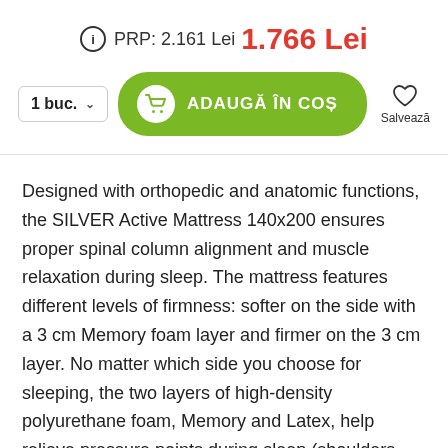PRP: 2.161 Lei  1.766 Lei
1 buc.  ADAUGĂ ÎN COȘ  Salvează
Designed with orthopedic and anatomic functions, the SILVER Active Mattress 140x200 ensures proper spinal column alignment and muscle relaxation during sleep. The mattress features different levels of firmness: softer on the side with a 3 cm Memory foam layer and firmer on the 3 cm layer. No matter which side you choose for sleeping, the two layers of high-density polyurethane foam, Memory and Latex, help relieve pressure points during sleep (shoulders, hips, legs) and provide muscle relaxation during sleep.